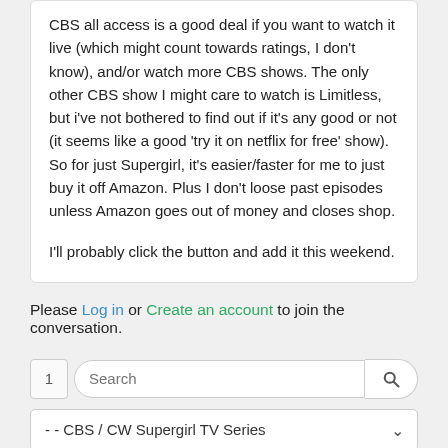CBS all access is a good deal if you want to watch it live (which might count towards ratings, I don't know), and/or watch more CBS shows. The only other CBS show I might care to watch is Limitless, but i've not bothered to find out if it's any good or not (it seems like a good 'try it on netflix for free' show). So for just Supergirl, it's easier/faster for me to just buy it off Amazon. Plus I don't loose past episodes unless Amazon goes out of money and closes shop.

I'll probably click the button and add it this weekend.
Please Log in or Create an account to join the conversation.
1  Search
- - CBS / CW Supergirl TV Series
Forum ▶ Superwomen on screen and in print ▶